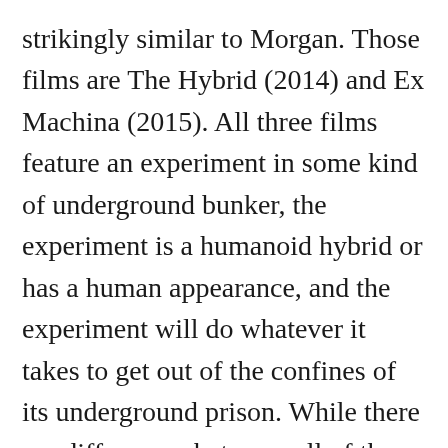strikingly similar to Morgan. Those films are The Hybrid (2014) and Ex Machina (2015). All three films feature an experiment in some kind of underground bunker, the experiment is a humanoid hybrid or has a human appearance, and the experiment will do whatever it takes to get out of the confines of its underground prison. While there are differences between all of these films that make them unique, it is hard for me to look past the similarities when judging the plot. I will say that Morgan had a bit more of a unique ending compared to the other two films. Without giving too much away, the way Morgan ends leaves it all on the edge of